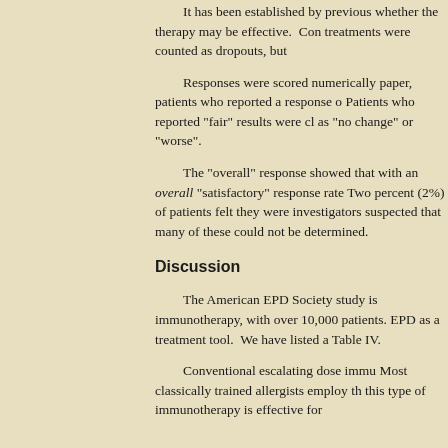It has been established by previous whether the therapy may be effective. Con treatments were counted as dropouts, but
Responses were scored numerically paper, patients who reported a response o Patients who reported "fair" results were cl as "no change" or "worse".
The "overall" response showed that with an overall "satisfactory" response rate Two percent (2%) of patients felt they were investigators suspected that many of these could not be determined.
Discussion
The American EPD Society study is immunotherapy, with over 10,000 patients. EPD as a treatment tool. We have listed a Table IV.
Conventional escalating dose immu Most classically trained allergists employ th this type of immunotherapy is effective for